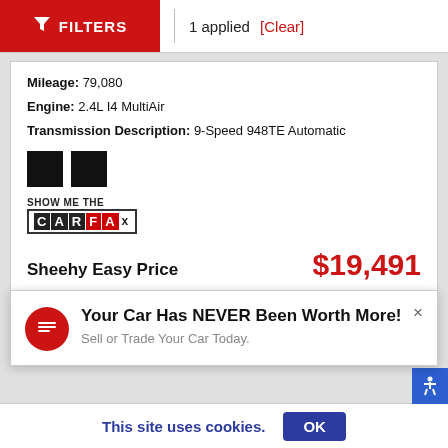FILTERS | 1 applied [Clear]
Mileage: 79,080
Engine: 2.4L I4 MultiAir
Transmission Description: 9-Speed 948TE Automatic
[Figure (other): Two black color swatches]
[Figure (logo): Show Me The CARFAX badge logo]
Sheehy Easy Price   $19,491
Your Car Has NEVER Been Worth More! Sell or Trade Your Car Today.
This site uses cookies. OK